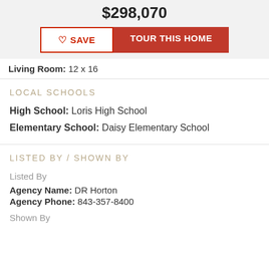$298,070
Living Room: 12 x 16
LOCAL SCHOOLS
High School: Loris High School
Elementary School: Daisy Elementary School
LISTED BY / SHOWN BY
Listed By
Agency Name: DR Horton
Agency Phone: 843-357-8400
Shown By